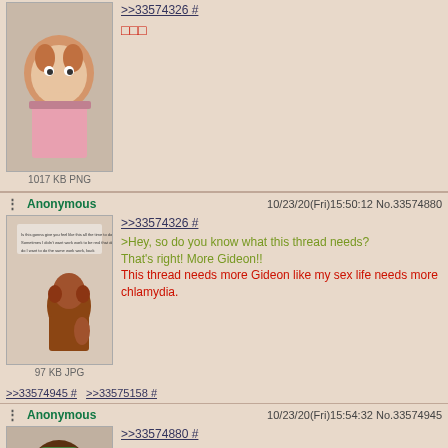[Figure (screenshot): Imageboard (4chan-style) page showing three posts with cartoon fox character images and replies]
>>33574326 #
□□□
1017 KB PNG
Anonymous 10/23/20(Fri)15:50:12 No.33574880
>>33574326 #
>Hey, so do you know what this thread needs?
That's right! More Gideon!!
This thread needs more Gideon like my sex life needs more chlamydia.
97 KB JPG
>>33574945 # >>33575158 #
Anonymous 10/23/20(Fri)15:54:32 No.33574945
>>33574880 #